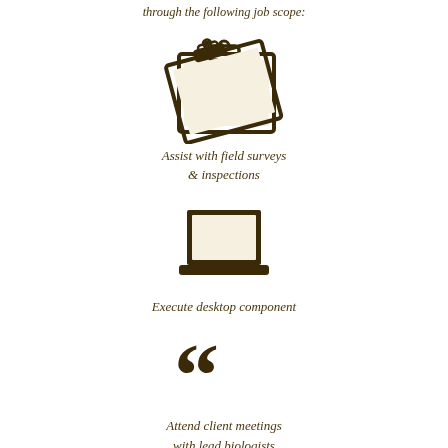through the following job scope:
[Figure (illustration): Clipboard icon in dark brown color]
Assist with field surveys & inspections
[Figure (illustration): Laptop/computer icon in dark brown color]
Execute desktop component
[Figure (illustration): Large open quotation marks icon in dark brown color]
Attend client meetings with lead biologists